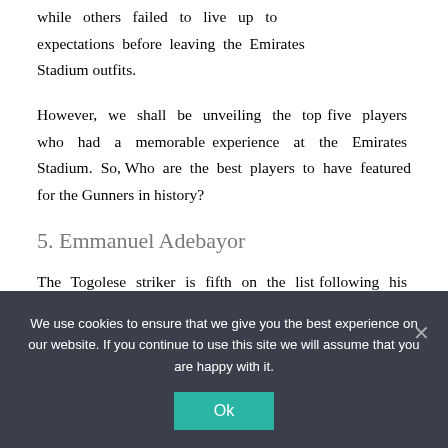while others failed to live up to expectations before leaving the Emirates Stadium outfits.
However, we shall be unveiling the top five players who had a memorable experience at the Emirates Stadium. So, Who are the best players to have featured for the Gunners in history?
5. Emmanuel Adebayor
The Togolese striker is fifth on the list following his relative success during the three years he's spent at the Emirates
We use cookies to ensure that we give you the best experience on our website. If you continue to use this site we will assume that you are happy with it.